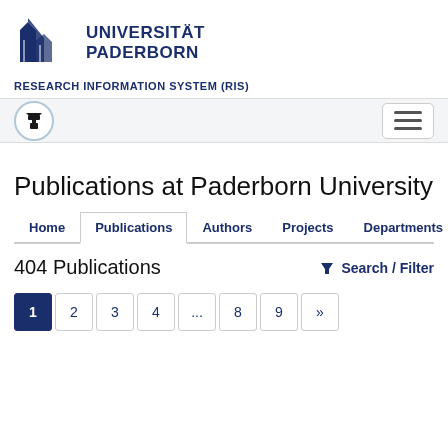[Figure (logo): Universität Paderborn logo with building icon and university name]
RESEARCH INFORMATION SYSTEM (RIS)
[Figure (screenshot): Navigation bar with an anvil/Paderborn icon circle on left and hamburger menu button on right]
Publications at Paderborn University
Home | Publications | Authors | Projects | Departments
404 Publications
Search / Filter
1  2  3  4  ...  8  9  »